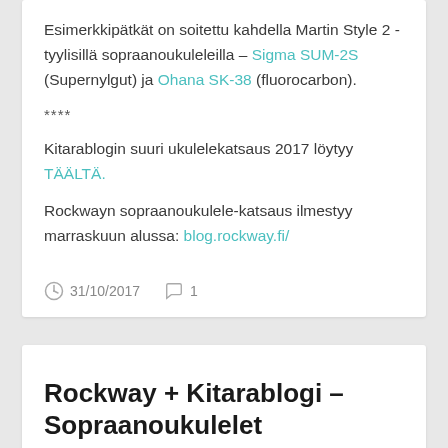Esimerkkipätkät on soitettu kahdella Martin Style 2 -tyylisillä sopraanoukuleleilla – Sigma SUM-2S (Supernylgut) ja Ohana SK-38 (fluorocarbon).
****
Kitarablogin suuri ukulelekatsaus 2017 löytyy TÄÄLTÄ.
Rockwayn sopraanoukulele-katsaus ilmestyy marraskuun alussa: blog.rockway.fi/
31/10/2017   1
Rockway + Kitarablogi – Sopraanoukulelet